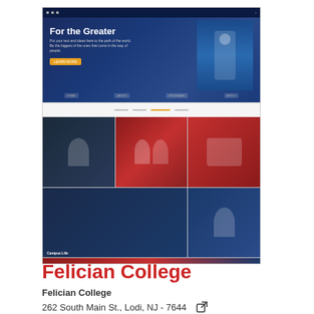[Figure (screenshot): Screenshot of Felician College website homepage showing 'For the Greater' hero banner with a graduate figure, navigation bar, and a grid of 5 images showing students and campus life]
Felician College
Felician College
262 South Main St., Lodi, NJ - 7644
Business School
MBA Program
Institution Control:
MBA Degrees Conferred:
AACSB Accreditation:
MBA Concentrations Offered:
Academic Year: